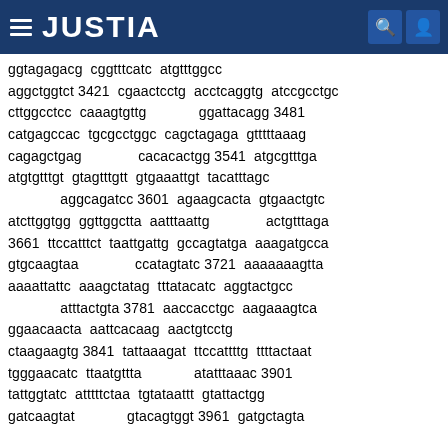JUSTIA
ggtagagacg  cggtttcatc  atgtttggcc
aggctggtct 3421  cgaactcctg  acctcaggtg  atccgcctgc
cttggcctcc  caaagtgttg             ggattacagg 3481
catgagccac  tgcgcctggc  cagctagaga  gtttttaaag
cagagctgag              cacacactgg 3541  atgcgtttga
atgtgtttgt  gtagtttgtt  gtgaaattgt  tacatttagc
             aggcagatcc 3601  agaagcacta  gtgaactgtc
atcttggtgg  ggttggctta  aatttaattg              actgtttaga
3661  ttccatttct  taattgattg  gccagtatga  aaagatgcca
gtgcaagtaa              ccatagtatc 3721  aaaaaaagtta
aaaattattc  aaagctatag  tttatacatc  aggtactgcc
             atttactgta 3781  aaccacctgc  aagaaagtca
ggaacaacta  aattcacaag  aactgtcctg
ctaagaagtg 3841  tattaaagat  ttccattttg  ttttactaat
tgggaacatc  ttaatgttta             atatttaaac 3901
tattggtatc  atttttctaa  tgtataattt  gtattactgg
gatcaagtat             gtacagtggt 3961  gatgctagta